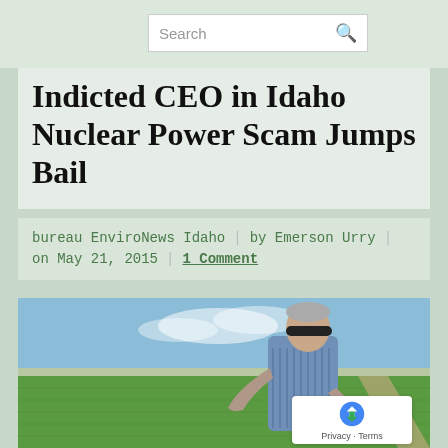Search
Indicted CEO in Idaho Nuclear Power Scam Jumps Bail
bureau EnviroNews Idaho | by Emerson Urry | on May 21, 2015 | 1 Comment
[Figure (photo): A man in sunglasses and a striped shirt standing outdoors in front of a green agricultural field under a blue sky, gesturing with his hands.]